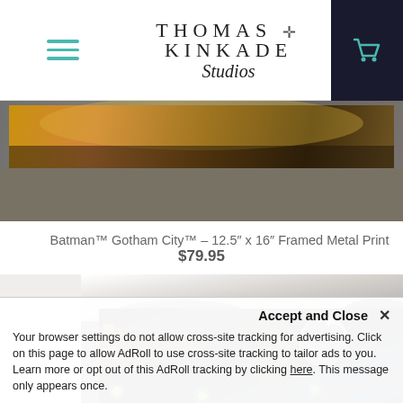Thomas Kinkade Studios
[Figure (photo): Framed metal print showing Batman Gotham City artwork — dark moody cityscape with golden tones, displayed in a grey textured frame. Top portion of product image.]
Batman™ Gotham City™ – 12.5″ x 16″ Framed Metal Print
$79.95
[Figure (photo): Canvas wrap art product showing Batman Gotham City artwork — dark nighttime cityscape with glowing green lights, full moon, gothic buildings, displayed as a 3D canvas wrap with white marble-textured sides visible.]
Accept and Close ✕
Your browser settings do not allow cross-site tracking for advertising. Click on this page to allow AdRoll to use cross-site tracking to tailor ads to you. Learn more or opt out of this AdRoll tracking by clicking here. This message only appears once.